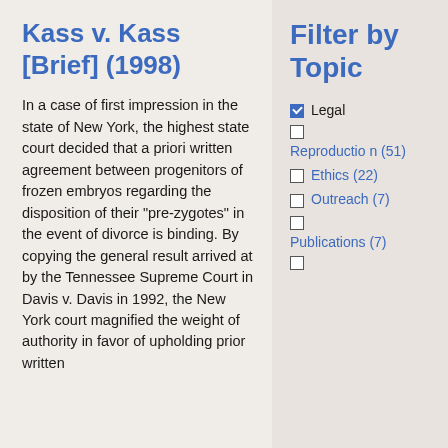Kass v. Kass [Brief] (1998)
In a case of first impression in the state of New York, the highest state court decided that a priori written agreement between progenitors of frozen embryos regarding the disposition of their "pre-zygotes" in the event of divorce is binding. By copying the general result arrived at by the Tennessee Supreme Court in Davis v. Davis in 1992, the New York court magnified the weight of authority in favor of upholding prior written
Filter by Topic
Legal (checked)
Reproduction (51)
Ethics (22)
Outreach (7)
Publications (7)